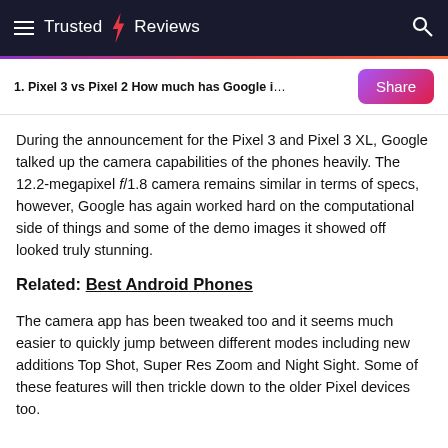Trusted Reviews
1. Pixel 3 vs Pixel 2 How much has Google impro…
During the announcement for the Pixel 3 and Pixel 3 XL, Google talked up the camera capabilities of the phones heavily. The 12.2-megapixel f/1.8 camera remains similar in terms of specs, however, Google has again worked hard on the computational side of things and some of the demo images it showed off looked truly stunning.
Related: Best Android Phones
The camera app has been tweaked too and it seems much easier to quickly jump between different modes including new additions Top Shot, Super Res Zoom and Night Sight. Some of these features will then trickle down to the older Pixel devices too.